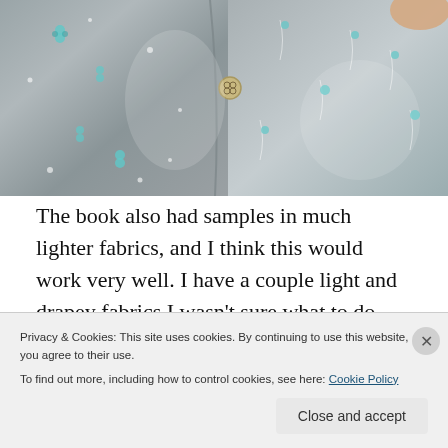[Figure (photo): Close-up photograph of a grey fabric with a floral/botanical print pattern featuring small flowers, dots, and plant stems in teal/white colors. A button is visible on the fabric.]
The book also had samples in much lighter fabrics, and I think this would work very well. I have a couple light and drapey fabrics I wasn't sure what to do with — now they're
Privacy & Cookies: This site uses cookies. By continuing to use this website, you agree to their use.
To find out more, including how to control cookies, see here: Cookie Policy
HIDDENBYTHIS.AS